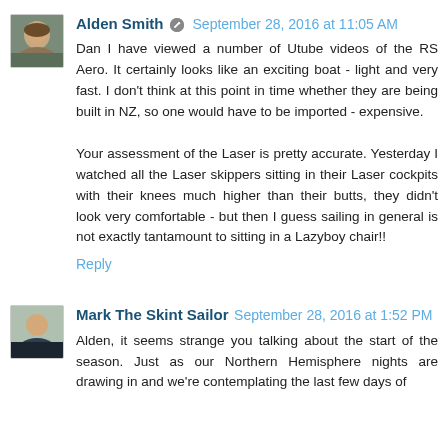[Figure (photo): Avatar photo of Alden Smith, a man with brown hair]
Alden Smith · September 28, 2016 at 11:05 AM
Dan I have viewed a number of Utube videos of the RS Aero. It certainly looks like an exciting boat - light and very fast. I don't think at this point in time whether they are being built in NZ, so one would have to be imported - expensive.

Your assessment of the Laser is pretty accurate. Yesterday I watched all the Laser skippers sitting in their Laser cockpits with their knees much higher than their butts, they didn't look very comfortable - but then I guess sailing in general is not exactly tantamount to sitting in a Lazyboy chair!!
Reply
[Figure (photo): Avatar photo of Mark The Skint Sailor, a bald man]
Mark The Skint Sailor September 28, 2016 at 1:52 PM
Alden, it seems strange you talking about the start of the season. Just as our Northern Hemisphere nights are drawing in and we're contemplating the last few days of